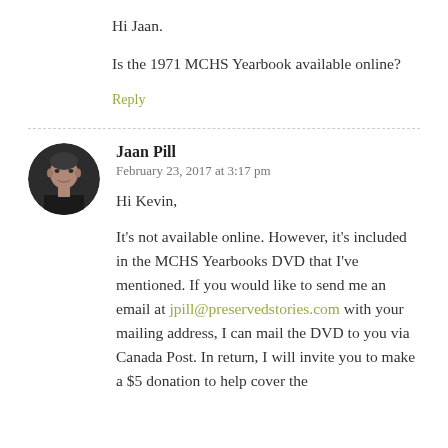Hi Jaan.
Is the 1971 MCHS Yearbook available online?
Reply
[Figure (photo): Circular avatar photo of Jaan Pill, a man in dark clothing against a dark background]
Jaan Pill
February 23, 2017 at 3:17 pm
Hi Kevin,
It's not available online. However, it's included in the MCHS Yearbooks DVD that I've mentioned. If you would like to send me an email at jpill@preservedstories.com with your mailing address, I can mail the DVD to you via Canada Post. In return, I will invite you to make a $5 donation to help cover the